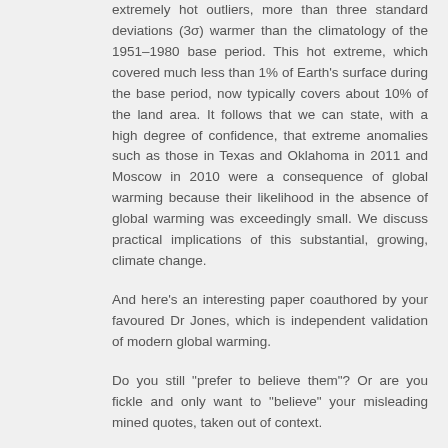extremely hot outliers, more than three standard deviations (3σ) warmer than the climatology of the 1951–1980 base period. This hot extreme, which covered much less than 1% of Earth's surface during the base period, now typically covers about 10% of the land area. It follows that we can state, with a high degree of confidence, that extreme anomalies such as those in Texas and Oklahoma in 2011 and Moscow in 2010 were a consequence of global warming because their likelihood in the absence of global warming was exceedingly small. We discuss practical implications of this substantial, growing, climate change.
And here's an interesting paper coauthored by your favoured Dr Jones, which is independent validation of modern global warming.
Do you still "prefer to believe them"? Or are you fickle and only want to "believe" your misleading mined quotes, taken out of context.